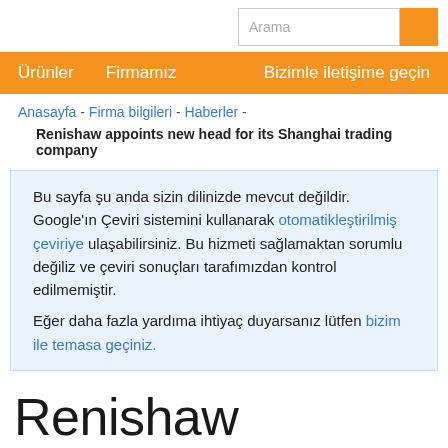Arama
Ürünler  Firmamız  Bizimle iletişime geçin
Anasayfa - Firma bilgileri - Haberler - Renishaw appoints new head for its Shanghai trading company
Bu sayfa şu anda sizin dilinizde mevcut değildir. Google'ın Çeviri sistemini kullanarak otomatikleştirilmiş çeviriye ulaşabilirsiniz. Bu hizmeti sağlamaktan sorumlu değiliz ve çeviri sonuçları tarafımızdan kontrol edilmemiştir.
Eğer daha fazla yardıma ihtiyaç duyarsanız lütfen bizim ile temasa geçiniz.
Renishaw appoints